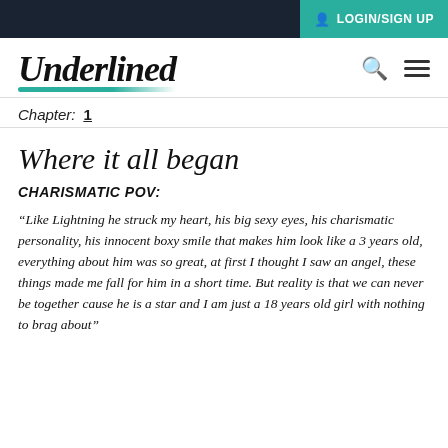LOGIN/SIGN UP
[Figure (logo): Underlined website logo with teal underline brush stroke, search icon and hamburger menu]
Chapter:  1
Where it all began
CHARISMATIC POV:
“Like Lightning he struck my heart, his big sexy eyes, his charismatic personality, his innocent boxy smile that makes him look like a 3 years old, everything about him was so great, at first I thought I saw an angel, these things made me fall for him in a short time. But reality is that we can never be together cause he is a star and I am just a 18 years old girl with nothing to brag about”